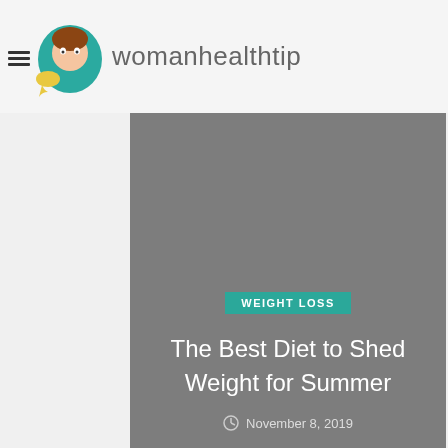womanhealthtip
[Figure (screenshot): Hero image area showing a gray placeholder with WEIGHT LOSS badge, article title 'The Best Diet to Shed Weight for Summer', and date November 8, 2019]
The Best Diet to Shed Weight for Summer
November 8, 2019
[Figure (screenshot): Second gray placeholder image card partially visible]
This website uses cookies to improve your experience. We'll assume you're ok with this, but you can opt-out if you wish.
< comment f t G+ ® in >